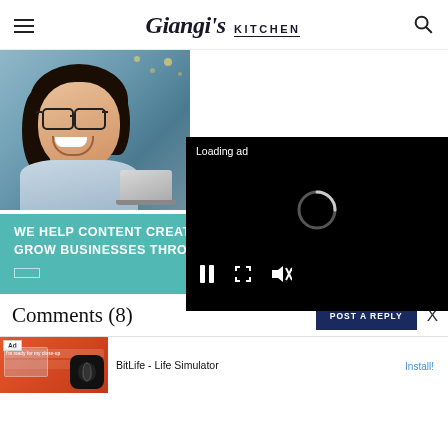Giangi's KITCHEN
[Figure (screenshot): Advertisement banner for a content creator business service. Shows a woman with glasses smiling and working on a laptop, with teal background and text 'WE HELP CONTENT CREATORS GROW BUSINESSES THROUGH...']
[Figure (screenshot): Video player overlay on black background showing 'Loading ad' text with a loading spinner and playback controls (pause, fullscreen, mute buttons)]
Comments (8)
[Figure (screenshot): Bottom advertisement for BitLife - Life Simulator app with Install! call to action link]